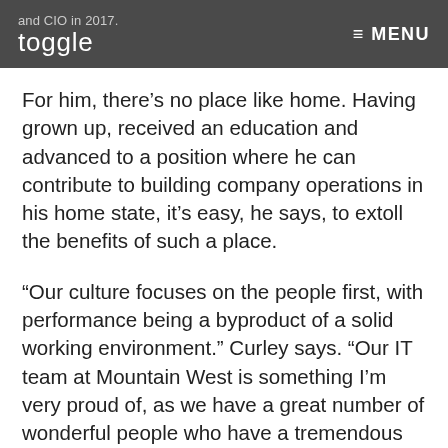and CIO in 2017. toggle ≡ MENU
For him, there's no place like home. Having grown up, received an education and advanced to a position where he can contribute to building company operations in his home state, it's easy, he says, to extoll the benefits of such a place.
“Our culture focuses on the people first, with performance being a byproduct of a solid working environment.” Curley says. “Our IT team at Mountain West is something I’m very proud of, as we have a great number of wonderful people who have a tremendous amount of talent, ability and potential!  It has been a fun journey to watch the